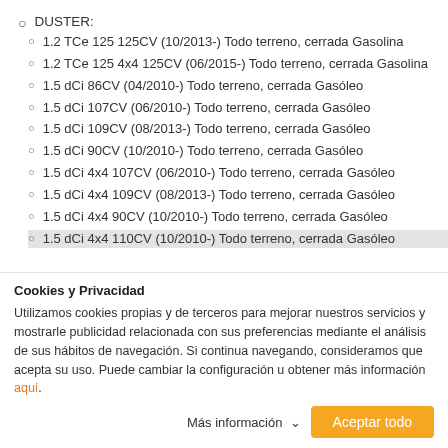DUSTER:
1.2 TCe 125 125CV (10/2013-) Todo terreno, cerrada Gasolina
1.2 TCe 125 4x4 125CV (06/2015-) Todo terreno, cerrada Gasolina
1.5 dCi 86CV (04/2010-) Todo terreno, cerrada Gasóleo
1.5 dCi 107CV (06/2010-) Todo terreno, cerrada Gasóleo
1.5 dCi 109CV (08/2013-) Todo terreno, cerrada Gasóleo
1.5 dCi 90CV (10/2010-) Todo terreno, cerrada Gasóleo
1.5 dCi 4x4 107CV (06/2010-) Todo terreno, cerrada Gasóleo
1.5 dCi 4x4 109CV (08/2013-) Todo terreno, cerrada Gasóleo
1.5 dCi 4x4 90CV (10/2010-) Todo terreno, cerrada Gasóleo
1.5 dCi 4x4 110CV (10/2010-) Todo terreno, cerrada Gasóleo
Cookies y Privacidad
Utilizamos cookies propias y de terceros para mejorar nuestros servicios y mostrarle publicidad relacionada con sus preferencias mediante el análisis de sus hábitos de navegación. Si continua navegando, consideramos que acepta su uso. Puede cambiar la configuración u obtener más información aquí.